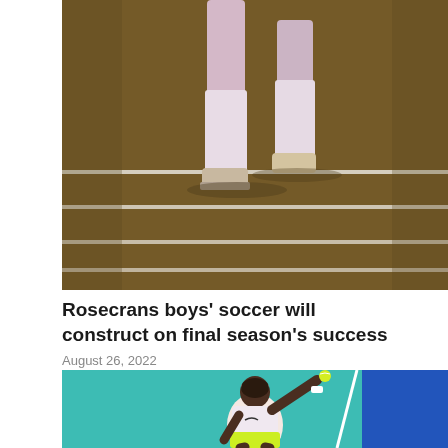[Figure (photo): Close-up of soccer player's legs in white knee-high socks and cleats running on a turf field with white yard lines visible]
Rosecrans boys' soccer will construct on final season's success
August 26, 2022
[Figure (photo): Female tennis player in white and yellow outfit serving or hitting a ball on a teal and blue tennis court]